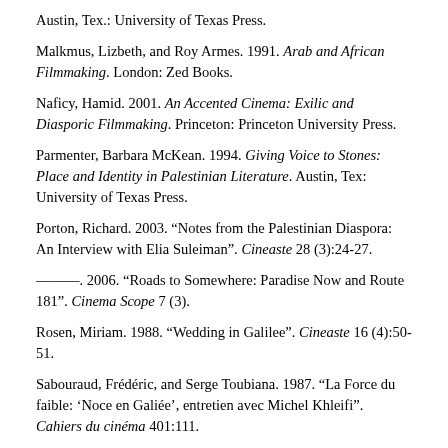Austin, Tex.: University of Texas Press.
Malkmus, Lizbeth, and Roy Armes. 1991. Arab and African Filmmaking. London: Zed Books.
Naficy, Hamid. 2001. An Accented Cinema: Exilic and Diasporic Filmmaking. Princeton: Princeton University Press.
Parmenter, Barbara McKean. 1994. Giving Voice to Stones: Place and Identity in Palestinian Literature. Austin, Tex: University of Texas Press.
Porton, Richard. 2003. “Notes from the Palestinian Diaspora: An Interview with Elia Suleiman”. Cineaste 28 (3):24-27.
———. 2006. “Roads to Somewhere: Paradise Now and Route 181”. Cinema Scope 7 (3).
Rosen, Miriam. 1988. “Wedding in Galilee”. Cineaste 16 (4):50-51.
Sabouraud, Frédéric, and Serge Toubiana. 1987. “La Force du faible: ‘Noce en Galiée’, entretien avec Michel Khleifi”. Cahiers du cinéma 401:111.